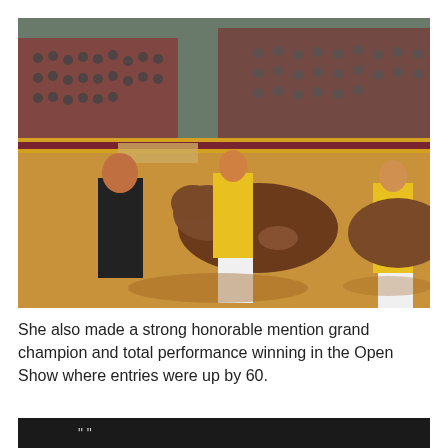[Figure (photo): Indoor livestock show arena with a large crowd in bleachers. In the foreground, a woman in a black jacket and a person in a yellow shirt are handling a brown dairy cow on a sawdust-covered show floor. Another handler in yellow is visible on the right with another cow.]
She also made a strong honorable mention grand champion and total performance winning in the Open Show where entries were up by 60.
[Figure (photo): Partially visible dark photograph at the bottom of the page.]